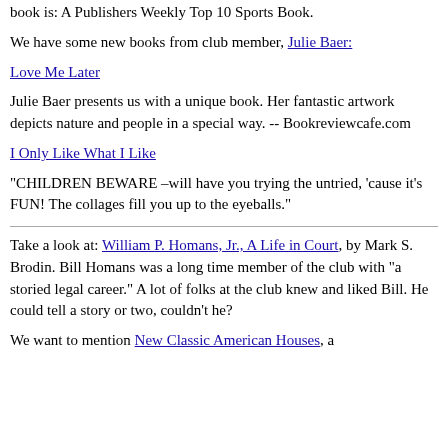book is: A Publishers Weekly Top 10 Sports Book.
We have some new books from club member, Julie Baer:
Love Me Later
Julie Baer presents us with a unique book. Her fantastic artwork depicts nature and people in a special way. -- Bookreviewcafe.com
I Only Like What I Like
"CHILDREN BEWARE –will have you trying the untried, 'cause it's FUN! The collages fill you up to the eyeballs."
Take a look at: William P. Homans, Jr., A Life in Court, by Mark S. Brodin. Bill Homans was a long time member of the club with "a storied legal career." A lot of folks at the club knew and liked Bill. He could tell a story or two, couldn't he?
We want to mention New Classic American Houses, a